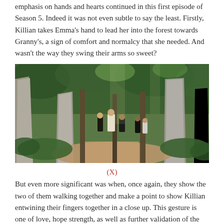emphasis on hands and hearts continued in this first episode of Season 5. Indeed it was not even subtle to say the least. Firstly, Killian takes Emma's hand to lead her into the forest towards Granny's, a sign of comfort and normalcy that she needed. And wasn't the way they swing their arms so sweet?
[Figure (photo): A group of people walking through a lush forest with large stone monoliths, viewed from behind, on a dirt path surrounded by green ferns and trees.]
(X)
But even more significant was when, once again, they show the two of them walking together and make a point to show Killian entwining their fingers together in a close up. This gesture is one of love, hope strength, as well as further validation of the belief